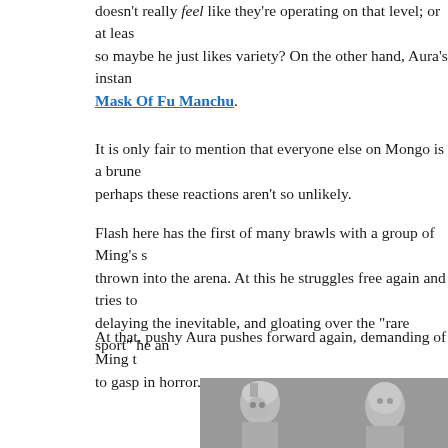doesn't really feel like they're operating on that level; or at least so maybe he just likes variety? On the other hand, Aura's instan Mask Of Fu Manchu.
It is only fair to mention that everyone else on Mongo is a brune perhaps these reactions aren't so unlikely.
Flash here has the first of many brawls with a group of Ming's s thrown into the arena. At this he struggles free again and tries to delaying the inevitable, and gloating over the "rare sport" he an
At that, pushy Aura pushes forward again, demanding of Ming t to gasp in horror.
[Figure (photo): Black and white film still showing two figures in metallic/fantasy costumes or masks, appearing to be from an old science fiction or adventure film.]